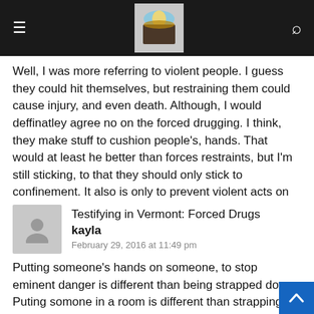Navigation bar with hamburger menu, site logo, and search icon
Well, I was more referring to violent people. I guess they could hit themselves, but restraining them could cause injury, and even death. Although, I would deffinatley agree no on the forced drugging. I think, they make stuff to cushion people's, hands. That would at least he better than forces restraints, but I'm still sticking, to that they should only stick to confinement. It also is only to prevent violent acts on others.
Testifying in Vermont: Forced Drugs
kayla
February 29, 2016 at 11:49 pm
Putting someone's hands on someone, to stop eminent danger is different than being strapped down. Puting somone in a room is different than strapping them down.